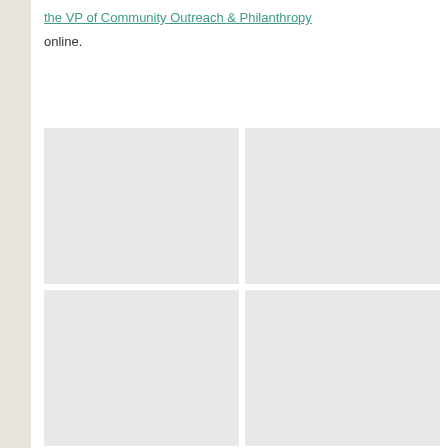the VP of Community Outreach & Philanthropy online.
[Figure (photo): A 2x2 grid of four image placeholders with light gray backgrounds, arranged in two rows and two columns.]